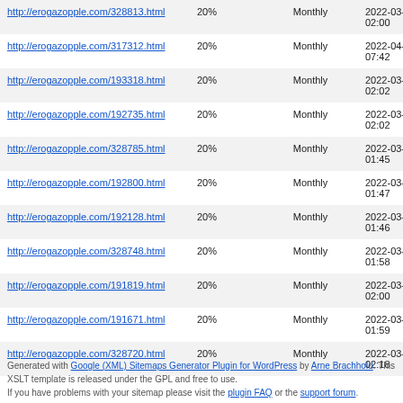| http://erogazopple.com/328813.html | 20% | Monthly | 2022-03-30 02:00 |
| http://erogazopple.com/317312.html | 20% | Monthly | 2022-04-04 07:42 |
| http://erogazopple.com/193318.html | 20% | Monthly | 2022-03-30 02:02 |
| http://erogazopple.com/192735.html | 20% | Monthly | 2022-03-30 02:02 |
| http://erogazopple.com/328785.html | 20% | Monthly | 2022-03-29 01:45 |
| http://erogazopple.com/192800.html | 20% | Monthly | 2022-03-29 01:47 |
| http://erogazopple.com/192128.html | 20% | Monthly | 2022-03-29 01:46 |
| http://erogazopple.com/328748.html | 20% | Monthly | 2022-03-28 01:58 |
| http://erogazopple.com/191819.html | 20% | Monthly | 2022-03-28 02:00 |
| http://erogazopple.com/191671.html | 20% | Monthly | 2022-03-28 01:59 |
| http://erogazopple.com/328720.html | 20% | Monthly | 2022-03-27 02:18 |
Generated with Google (XML) Sitemaps Generator Plugin for WordPress by Arne Brachhold. This XSLT template is released under the GPL and free to use. If you have problems with your sitemap please visit the plugin FAQ or the support forum.